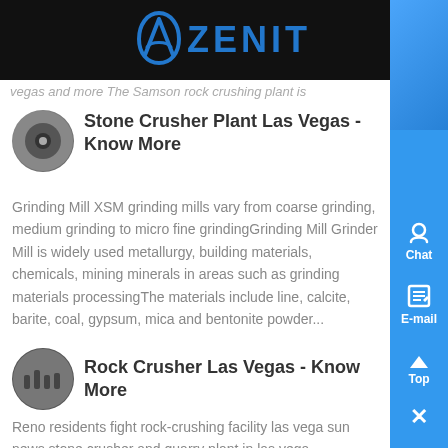ZENIT
vegas and more The Samson rock crushing plant is
Stone Crusher Plant Las Vegas - Know More
Grinding Mill XSM grinding mills vary from coarse grinding, medium grinding to micro fine grindingGrinding Mill Grinder Mill is widely used metallurgy, building materials, chemicals, mining minerals in areas such as grinding materials processingThe materials include line, calcite, barite, coal, gypsum, mica and bentonite powder...
Rock Crusher Las Vegas - Know More
Reno residents fight rock-crushing facility las vega sun news stone crusher and quarry plant in las vega